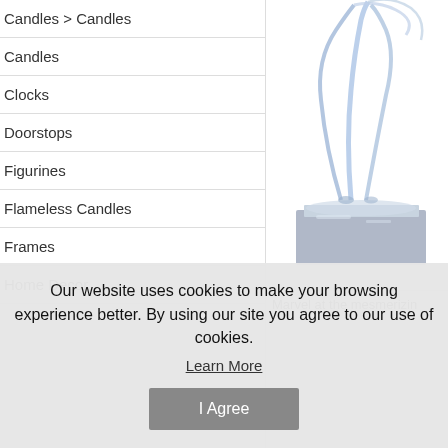Candles > Candles
Candles
Clocks
Doorstops
Figurines
Flameless Candles
Frames
Home Decor
[Figure (photo): Glass figurine sculpture on a silver mirrored base with flowing blue glass elements]
Marvel at the mesmerizin
Our website uses cookies to make your browsing experience better. By using our site you agree to our use of cookies.
Learn More
I Agree